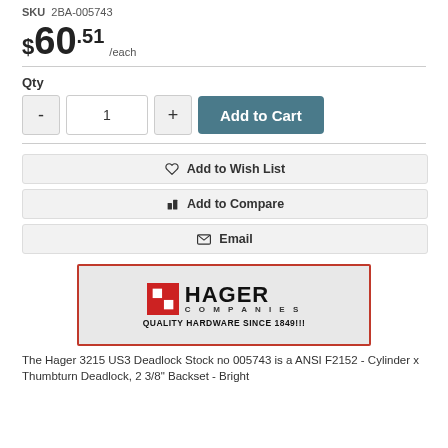SKU  2BA-005743
$60.51 /each
Qty
- 1 + Add to Cart
Add to Wish List
Add to Compare
Email
[Figure (logo): Hager Companies logo with tagline QUALITY HARDWARE SINCE 1849!!!]
The Hager 3215 US3 Deadlock Stock no 005743 is a ANSI F2152 - Cylinder x Thumbturn Deadlock, 2 3/8" Backset - Bright